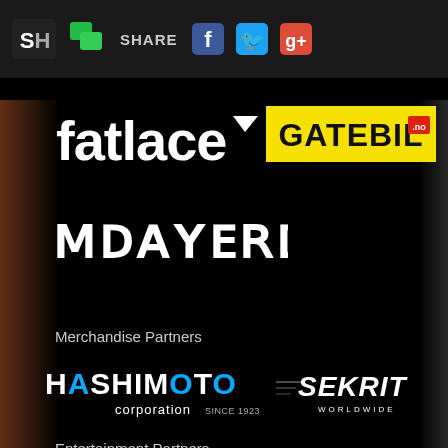SH [logo] [comment icon] SHARE [Facebook] [Twitter] [Google+]
[Figure (logo): Fatlace logo in white text with small triangle/arrow accent]
[Figure (logo): Gatebil.no logo in black bold text on yellow background with red .no badge]
[Figure (logo): Stylized angular/runic wordmark logo in white]
Merchandise Partners
[Figure (logo): Hashimoto Corporation logo with stylized lettering and 'SINCE 1923' text]
[Figure (logo): Sekrit Worldwide logo with speed lines and italic bold text]
Entertainment Partners
[Figure (logo): Need for Speed logo in cyan/blue italic bold text]